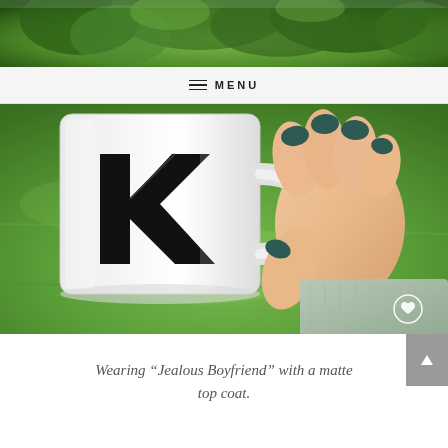[Figure (photo): Top partial photo of green trees/foliage, cropped at top of page]
≡ MENU
[Figure (photo): A hand with dark teal/green matte nails holding a white ceramic mug with a geometric K logo, against a green grass background. A small heart watermark visible in lower right.]
Wearing “Jealous Boyfriend” with a matte top coat.